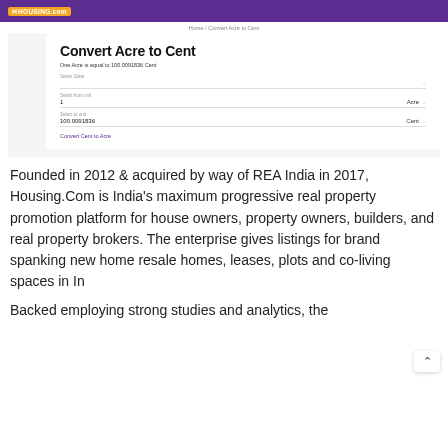HOUSING.com
Home / Convert Acre to Cent
Convert Acre to Cent
One Acre is equal to 100.0091836 Cent
Select State
Select from unit
1   Acre
Select to unit
100.0091836   Cent
Convert Cent to Acre
Founded in 2012 & acquired by way of REA India in 2017, Housing.Com is India's maximum progressive real property promotion platform for house owners, property owners, builders, and real property brokers. The enterprise gives listings for brand spanking new home resale homes, leases, plots and co-living spaces in In
Backed employing strong studies and analytics, the